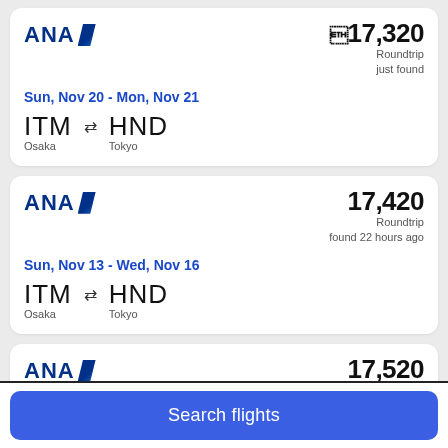[Figure (screenshot): ANA airline logo with blue text and diagonal stripe]
¥17,320
Roundtrip
just found
Sun, Nov 20 - Mon, Nov 21
ITM ↔ HND
Osaka  Tokyo
[Figure (screenshot): ANA airline logo with blue text and diagonal stripe]
¥17,420
Roundtrip
found 22 hours ago
Sun, Nov 13 - Wed, Nov 16
ITM ↔ HND
Osaka  Tokyo
[Figure (screenshot): ANA airline logo with blue text and diagonal stripe]
¥17,520
Roundtrip
just found
Search flights